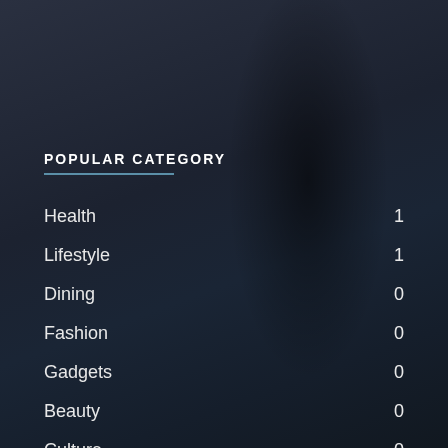POPULAR CATEGORY
Health 1
Lifestyle 1
Dining 0
Fashion 0
Gadgets 0
Beauty 0
Culture 0
Fitness 0